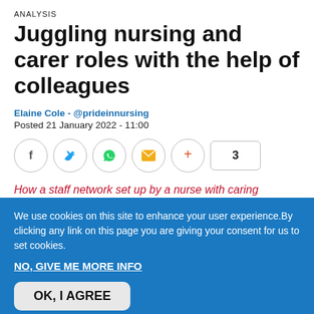ANALYSIS
Juggling nursing and carer roles with the help of colleagues
Elaine Cole - @prideinnursing
Posted 21 January 2022 - 11:00
[Figure (infographic): Social share buttons: Facebook, Twitter, WhatsApp, Email, Plus, and a count badge showing 3]
How a staff network set up by a nurse with caring
We use cookies on this site to enhance your user experience. By clicking any link on this page you are giving your consent for us to set cookies.
NO, GIVE ME MORE INFO
OK, I AGREE